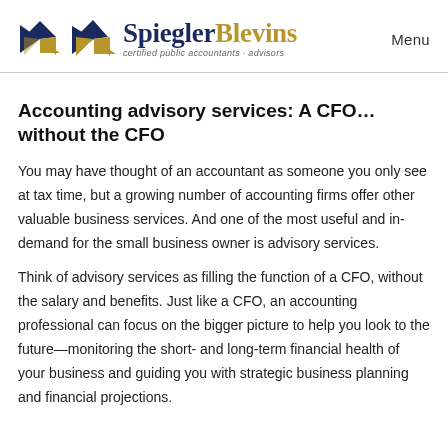[Figure (logo): SpieglerBlevins certified public accountants advisors logo with geometric diamond/arrow icon in navy and gold]
Menu
Accounting advisory services: A CFO...without the CFO
You may have thought of an accountant as someone you only see at tax time, but a growing number of accounting firms offer other valuable business services. And one of the most useful and in-demand for the small business owner is advisory services.
Think of advisory services as filling the function of a CFO, without the salary and benefits. Just like a CFO, an accounting professional can focus on the bigger picture to help you look to the future—monitoring the short- and long-term financial health of your business and guiding you with strategic business planning and financial projections.